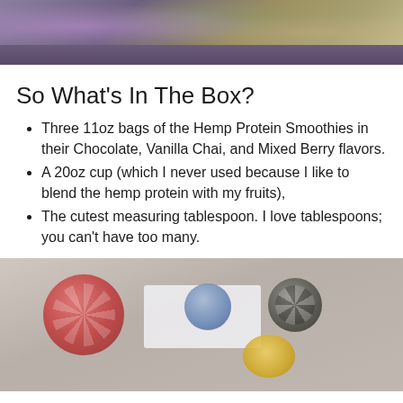[Figure (photo): Top portion of a product box showing hemp protein smoothie bags with colorful packaging visible through clear plastic wrap]
So What’s In The Box?
Three 11oz bags of the Hemp Protein Smoothies in their Chocolate, Vanilla Chai, and Mixed Berry flavors.
A 20oz cup (which I never used because I like to blend the hemp protein with my fruits),
The cutest measuring tablespoon. I love tablespoons; you can’t have too many.
[Figure (photo): A blurry close-up photo of product packaging showing circular label designs with red, blue, dark grey, and yellow/orange circular badges]